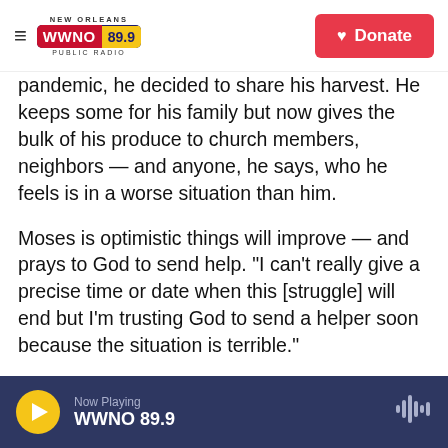NEW ORLEANS WWNO 89.9 PUBLIC RADIO | Donate
pandemic, he decided to share his harvest. He keeps some for his family but now gives the bulk of his produce to church members, neighbors — and anyone, he says, who he feels is in a worse situation than him.

Moses is optimistic things will improve — and prays to God to send help. "I can't really give a precise time or date when this [struggle] will end but I'm trusting God to send a helper soon because the situation is terrible."
Photos and reporting by Olu Jameson
Now Playing WWNO 89.9